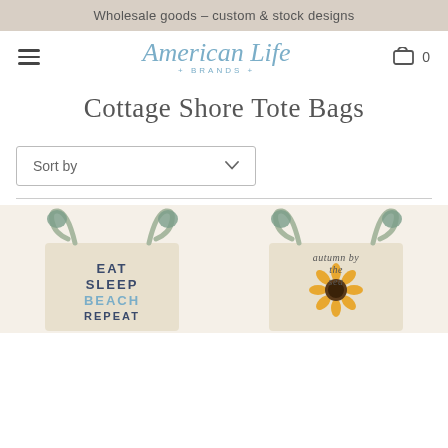Wholesale goods – custom & stock designs
[Figure (logo): American Life Brands cursive logo in blue with tagline '+ BRANDS +']
Cottage Shore Tote Bags
Sort by
[Figure (photo): Canvas tote bag with text 'EAT SLEEP BEACH REPEAT']
[Figure (photo): Canvas tote bag with sunflower design and text 'autumn by the sea']